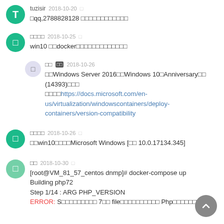tuzisir  2018-10-20  —  ​​qq,2788828128 ​​​​​​​​​​​​​​
​​​​  2018-10-25  — win10 ​​docker​​​​​​​​​​​​​​
​​ [badge] 2018-10-26 — ​​Windows Server 2016​​Windows 10​Anniversary​​ (14393)​​​​  ​​​​https://docs.microsoft.com/en-us/virtualization/windowscontainers/deploy-containers/version-compatibility
​​​​  2018-10-26  — ​​win10​​​​Microsoft Windows [​​ 10.0.17134.345]
​​  2018-10-30  — [root@VM_81_57_centos dnmp]# docker-compose up
Building php72
Step 1/14 : ARG PHP_VERSION
ERROR: ...